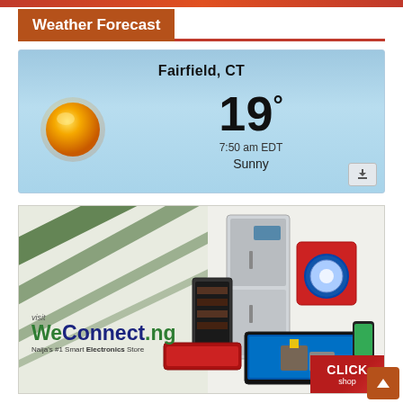Weather Forecast
[Figure (infographic): Weather widget showing Fairfield, CT with sunny icon, temperature 19°, time 7:50 am EDT, condition Sunny]
[Figure (infographic): Advertisement for WeConnect.ng - Naija's #1 Smart Electronics Store, showing electronics like refrigerator, washing machine, TV, AC, with CLICK to shop button]